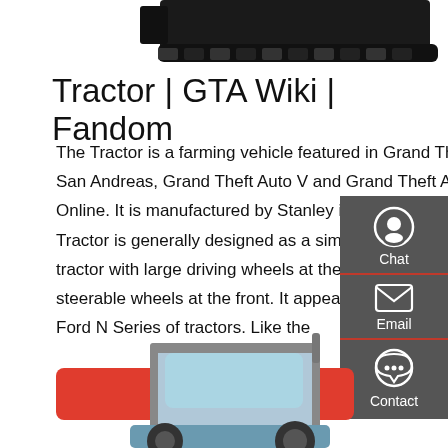[Figure (photo): Partial view of a black tracked vehicle/bulldozer from above, cropped at top of page]
Tractor | GTA Wiki | Fandom
The Tractor is a farming vehicle featured in Grand Theft Auto: San Andreas, Grand Theft Auto V and Grand Theft Auto Online. It is manufactured by Stanley in the HD Universe. The Tractor is generally designed as a simple, open air farming tractor with large driving wheels at the back and a pair of steerable wheels at the front. It appears to be based on the Ford N Series of tractors. Like the
[Figure (infographic): Right sidebar with dark grey background showing Chat, Email, and Contact icons with labels]
Get a quote
[Figure (photo): Partial view of a blue/teal tractor cab from below, cropped at bottom of page]